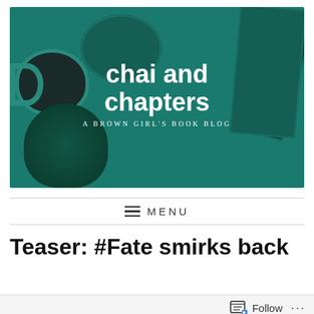[Figure (photo): Banner image for 'chai and chapters' blog — teal/green background with a coffee cup, plant, paper clips on a tray, and gift boxes visible. White bold text reads 'chai and chapters' with subtitle 'A BROWN GIRL'S BOOK BLOG'.]
≡ MENU
Teaser: #Fate smirks back